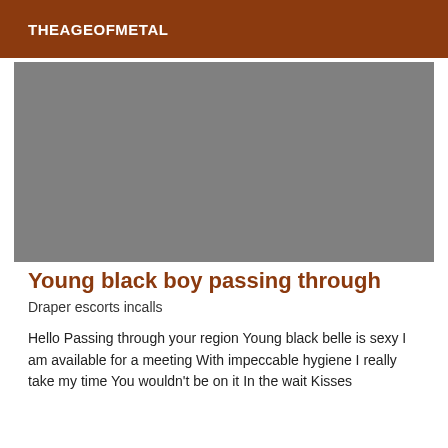THEAGEOFMETAL
[Figure (photo): Gray placeholder image area]
Young black boy passing through
Draper escorts incalls
Hello Passing through your region Young black belle is sexy I am available for a meeting With impeccable hygiene I really take my time You wouldn't be on it In the wait Kisses